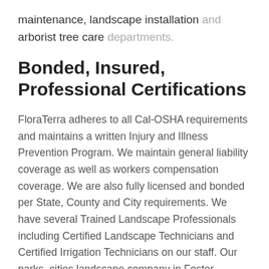maintenance, landscape installation and arborist tree care departments.
Bonded, Insured, Professional Certifications
FloraTerra adheres to all Cal-OSHA requirements and maintains a written Injury and Illness Prevention Program. We maintain general liability coverage as well as workers compensation coverage. We are also fully licensed and bonded per State, County and City requirements. We have several Trained Landscape Professionals including Certified Landscape Technicians and Certified Irrigation Technicians on our staff. Our parks, cities landscape company in Foster